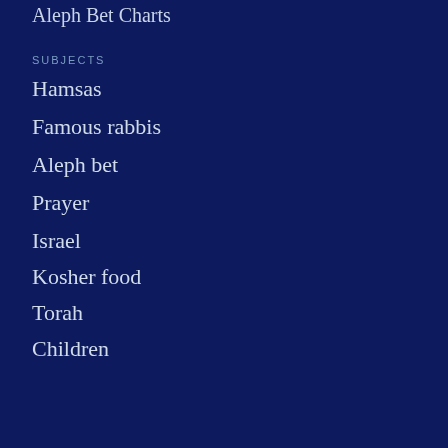Aleph Bet Charts
SUBJECTS
Hamsas
Famous rabbis
Aleph bet
Prayer
Israel
Kosher food
Torah
Children
BY FUNCTION
Tefillin bags
Tallit bags
Large tallit bags
Kippot
Book covers